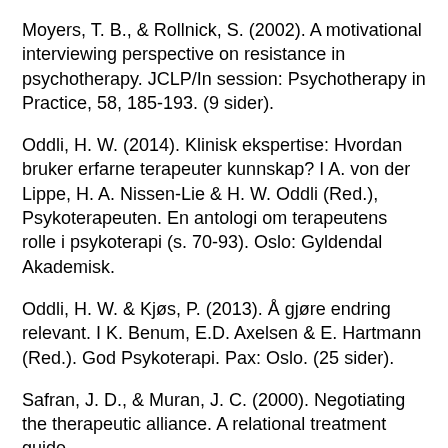Moyers, T. B., & Rollnick, S. (2002). A motivational interviewing perspective on resistance in psychotherapy. JCLP/In session: Psychotherapy in Practice, 58, 185-193. (9 sider).
Oddli, H. W. (2014). Klinisk ekspertise: Hvordan bruker erfarne terapeuter kunnskap? I A. von der Lippe, H. A. Nissen-Lie & H. W. Oddli (Red.), Psykoterapeuten. En antologi om terapeutens rolle i psykoterapi (s. 70-93). Oslo: Gyldendal Akademisk.
Oddli, H. W. & Kjøs, P. (2013). Å gjøre endring relevant. I K. Benum, E.D. Axelsen & E. Hartmann (Red.). God Psykoterapi. Pax: Oslo. (25 sider).
Safran, J. D., & Muran, J. C. (2000). Negotiating the therapeutic alliance. A relational treatment guide.